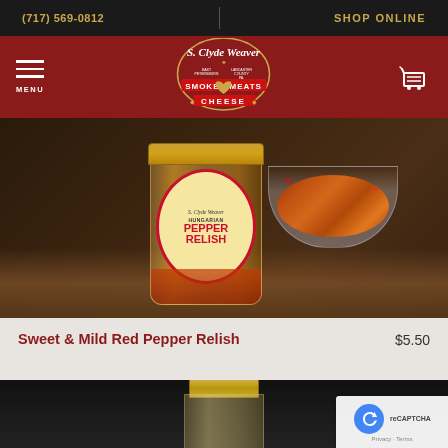(717) 569-0812   SHOP ONLINE
[Figure (logo): S. Clyde Weaver Smoked Meats & Cheese logo on dark red navigation bar with hamburger menu and cart icon]
[Figure (photo): S. Clyde Weaver Hungarian Pepper Relish jar and bowl of relish on wooden cutting board]
Sweet & Mild Red Pepper Relish
$5.50
[Figure (photo): Partial view of a jar with gold lid on dark background, second product]